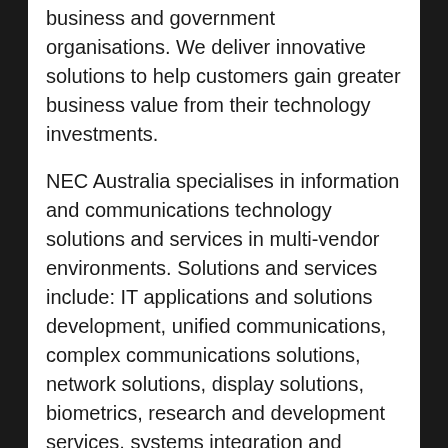business and government organisations. We deliver innovative solutions to help customers gain greater business value from their technology investments.
NEC Australia specialises in information and communications technology solutions and services in multi-vendor environments. Solutions and services include: IT applications and solutions development, unified communications, complex communications solutions, network solutions, display solutions, biometrics, research and development services, systems integration and professional, technical and managed services. For more information, visit NEC Australia at au.nec.com
NEC is a registered trademark of NEC Corporation. All Rights Reserved. Other product or service marks mentioned herein are the